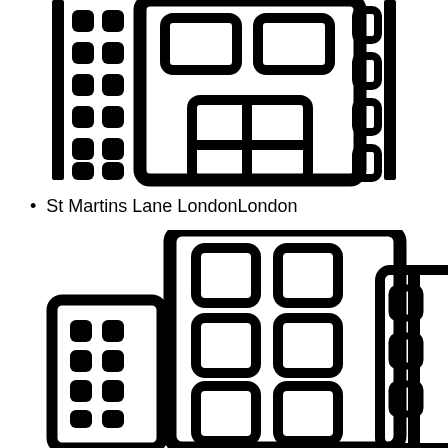[Figure (illustration): Black and white icon illustration of city buildings/skyscrapers - top portion showing multiple building facades with windows]
St Martins Lane LondonLondon
[Figure (illustration): Black and white icon illustration of city buildings/skyscrapers - bottom portion showing multiple building facades with windows]